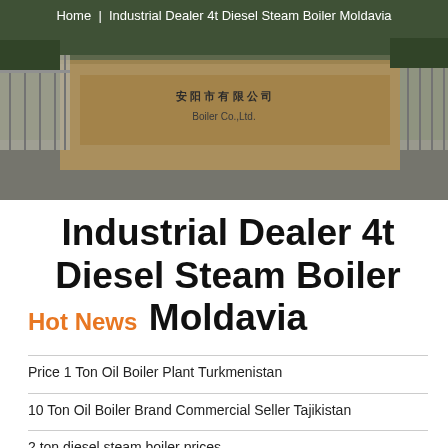[Figure (photo): Aerial/street-level photo of a boiler manufacturing facility with Chinese characters on a wall sign reading Boiler Co. Ltd., with a gate and outdoor area visible.]
Home | Industrial Dealer 4t Diesel Steam Boiler Moldavia
Industrial Dealer 4t Diesel Steam Boiler Moldavia
Hot News
Price 1 Ton Oil Boiler Plant Turkmenistan
10 Ton Oil Boiler Brand Commercial Seller Tajikistan
2 ton diesel steam boiler prices